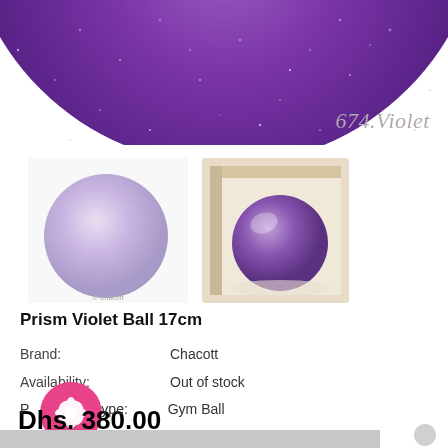[Figure (photo): Cropped top view of a purple/violet glitter rhythmic gymnastics ball, partially visible at the top of the page]
674.Violet
[Figure (photo): Two small product images: a light lavender ball on white background (left) and a violet/purple metallic ball inside an open box (right)]
Prism Violet Ball 17cm
Brand: Chacott
Availability: Out of stock
Product type: Gym Ball
Dhs. 380.00